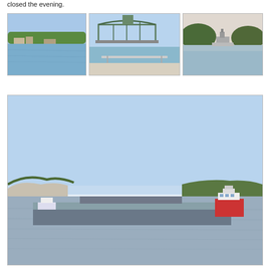closed the evening.
[Figure (photo): River scene with town and trees on the far bank, calm water in foreground]
[Figure (photo): Steel lift bridge over a waterway, viewed from the bow of a boat with railings visible in foreground]
[Figure (photo): Misty river scene with a boat near a wooded island, calm water]
[Figure (photo): Large river barge being pushed by a towboat on a wide river, bluffs and trees visible in background under a blue sky]